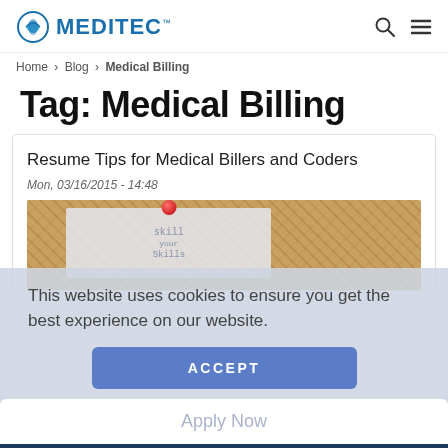MEDITEC — Home > Blog > Medical Billing
Tag: Medical Billing
Resume Tips for Medical Billers and Coders
Mon, 03/16/2015 - 14:48
[Figure (photo): Cork bulletin board with a paper note pinned by a red thumbtack, with handwritten text referencing skills]
This website uses cookies to ensure you get the best experience on our website.
ACCEPT
Apply Now